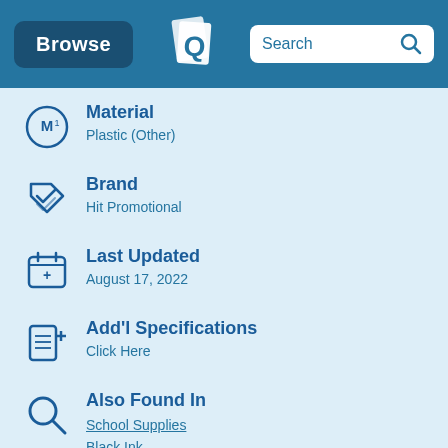Browse | Search
Material
Plastic (Other)
Brand
Hit Promotional
Last Updated
August 17, 2022
Add'l Specifications
Click Here
Also Found In
School Supplies
Black Ink
Ballpoint Pens
Plastic Pens